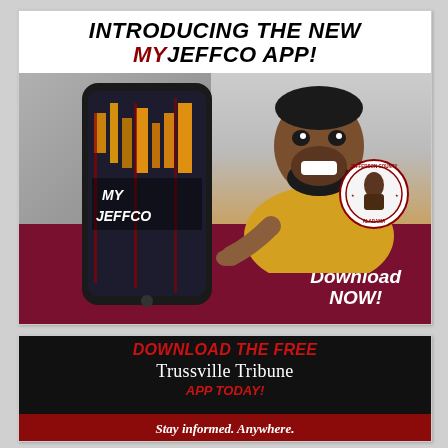[Figure (infographic): Jefferson County MyJeffco app advertisement. Shows a smiling man in yellow shirt holding a smartphone displaying 'MY JEFFCO' app with building imagery. Text reads 'Introducing The New MyJeffco App!' and 'Download NOW!' with Jefferson County Alabama seal.]
[Figure (infographic): Trussville Tribune app advertisement on black background with red text reading 'Download the FREE Trussville Tribune App Today!' and italic text 'Stay informed. Anywhere.' with a red stripe at bottom.]